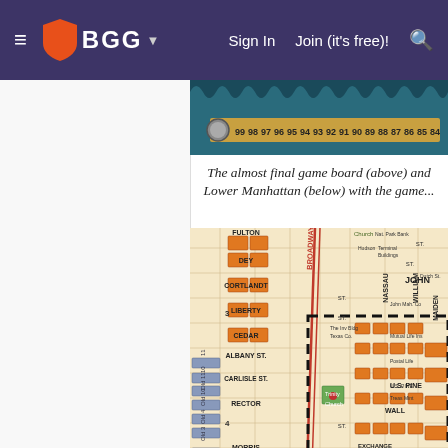BGG — Sign In  Join (it's free)!
[Figure (photo): Game board strip showing numbered spaces from 99 down to 84, with decorative scalloped border and game pieces]
The almost final game board (above) and Lower Manhattan (below) with the game...
[Figure (map): Map of Lower Manhattan showing street grid with FULTON, DEY, CORTLANDT, LIBERTY, CEDAR, ALBANY ST., CARLISLE ST., RECTOR, MORRIS streets and BROADWAY, NASSAU, WILLIAM, MAIDEN, WALL ST. overlaid with orange building blocks and a dashed rectangle highlighting a section of the financial district]